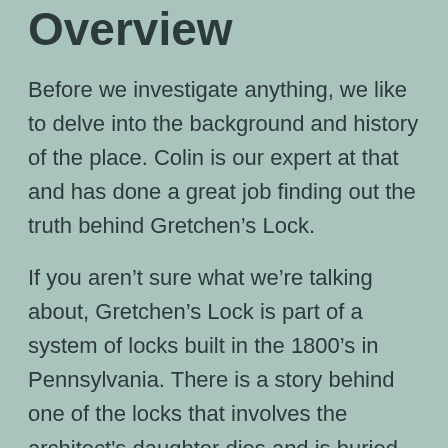Overview
Before we investigate anything, we like to delve into the background and history of the place. Colin is our expert at that and has done a great job finding out the truth behind Gretchen’s Lock.
If you aren’t sure what we’re talking about, Gretchen’s Lock is part of a system of locks built in the 1800’s in Pennsylvania. There is a story behind one of the locks that involves the architect's daughter dies and is buried in the lock. Find out more about the history and our ghost investigation.